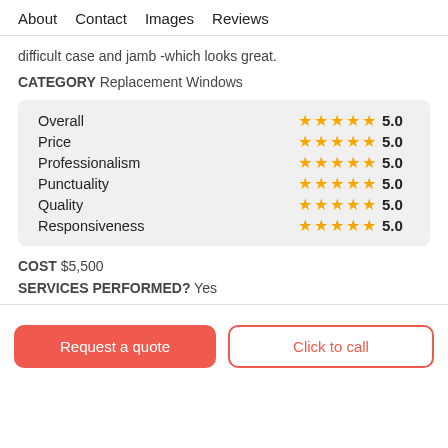About   Contact   Images   Reviews
difficult case and jamb -which looks great.
CATEGORY Replacement Windows
| Category | Stars | Score |
| --- | --- | --- |
| Overall | ★★★★★ | 5.0 |
| Price | ★★★★★ | 5.0 |
| Professionalism | ★★★★★ | 5.0 |
| Punctuality | ★★★★★ | 5.0 |
| Quality | ★★★★★ | 5.0 |
| Responsiveness | ★★★★★ | 5.0 |
COST $5,500
SERVICES PERFORMED? Yes